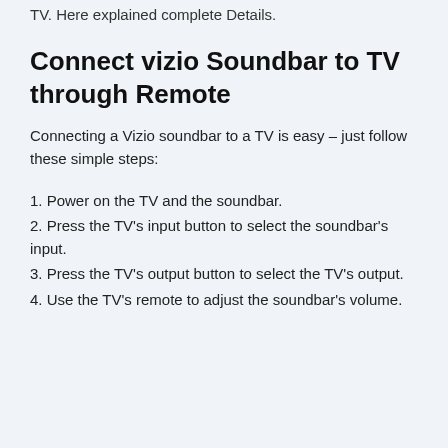TV. Here explained complete Details.
Connect vizio Soundbar to TV through Remote
Connecting a Vizio soundbar to a TV is easy – just follow these simple steps:
1. Power on the TV and the soundbar.
2. Press the TV's input button to select the soundbar's input.
3. Press the TV's output button to select the TV's output.
4. Use the TV's remote to adjust the soundbar's volume.